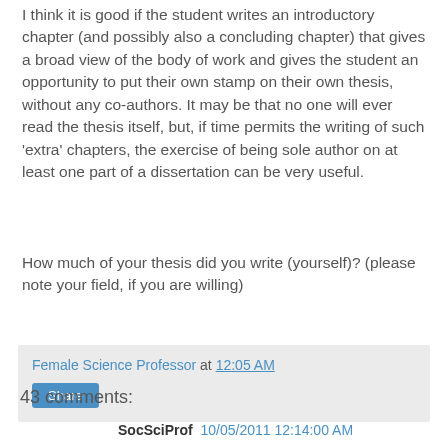I think it is good if the student writes an introductory chapter (and possibly also a concluding chapter) that gives a broad view of the body of work and gives the student an opportunity to put their own stamp on their own thesis, without any co-authors. It may be that no one will ever read the thesis itself, but, if time permits the writing of such 'extra' chapters, the exercise of being sole author on at least one part of a dissertation can be very useful.
How much of your thesis did you write (yourself)? (please note your field, if you are willing)
Female Science Professor at 12:05 AM
Share
43 comments:
SocSciProf  10/05/2011 12:14:00 AM